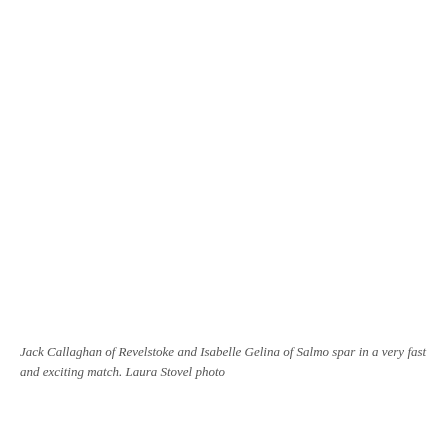[Figure (photo): A photograph of Jack Callaghan of Revelstoke and Isabelle Gelina of Salmo sparring in a fast and exciting match. Photo by Laura Stovel.]
Jack Callaghan of Revelstoke and Isabelle Gelina of Salmo spar in a very fast and exciting match. Laura Stovel photo